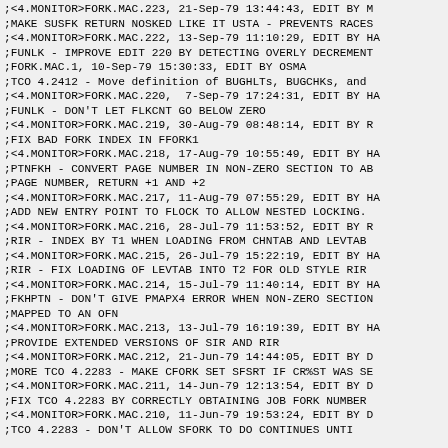;<4.MONITOR>FORK.MAC.223, 21-Sep-79 13:44:43, EDIT BY M
;MAKE SUSFK RETURN NOSKED LIKE IT USTA - PREVENTS RACES
;<4.MONITOR>FORK.MAC.222, 13-Sep-79 11:10:29, EDIT BY HA
;FUNLK - IMPROVE EDIT 220 BY DETECTING OVERLY DECREMENT
;<OSMAN.MON>FORK.MAC.1, 10-Sep-79 15:30:33, EDIT BY OSMA
;TCO 4.2412 - Move definition of BUGHLTs, BUGCHKs, and
;<4.MONITOR>FORK.MAC.220,  7-Sep-79 17:24:31, EDIT BY HA
;FUNLK - DON'T LET FLKCNT GO BELOW ZERO
;<4.MONITOR>FORK.MAC.219, 30-Aug-79 08:48:14, EDIT BY R
;FIX BAD FORK INDEX IN FFORK1
;<4.MONITOR>FORK.MAC.218, 17-Aug-79 10:55:49, EDIT BY HA
;PTNFKH - CONVERT PAGE NUMBER IN NON-ZERO SECTION TO AB
;PAGE NUMBER, RETURN +1 AND +2
;<4.MONITOR>FORK.MAC.217, 11-Aug-79 07:55:29, EDIT BY HA
;ADD NEW ENTRY POINT TO FLOCK TO ALLOW NESTED LOCKING.
;<4.MONITOR>FORK.MAC.216, 28-Jul-79 11:53:52, EDIT BY R
;RIR - INDEX BY T1 WHEN LOADING FROM CHNTAB AND LEVTAB
;<4.MONITOR>FORK.MAC.215, 26-Jul-79 15:22:19, EDIT BY HA
;RIR - FIX LOADING OF LEVTAB INTO T2 FOR OLD STYLE RIR
;<4.MONITOR>FORK.MAC.214, 15-Jul-79 11:40:14, EDIT BY HA
;FKHPTN - DON'T GIVE PMAPX4 ERROR WHEN NON-ZERO SECTION
;MAPPED TO AN OFN
;<4.MONITOR>FORK.MAC.213, 13-Jul-79 16:19:39, EDIT BY HA
;PROVIDE EXTENDED VERSIONS OF SIR AND RIR
;<4.MONITOR>FORK.MAC.212, 21-Jun-79 14:44:05, EDIT BY D
;MORE TCO 4.2283 - MAKE CFORK SET SFSRT IF CR%ST WAS SE
;<4.MONITOR>FORK.MAC.211, 14-Jun-79 12:13:54, EDIT BY D
;FIX TCO 4.2283 BY CORRECTLY OBTAINING JOB FORK NUMBER
;<4.MONITOR>FORK.MAC.210, 11-Jun-79 19:53:24, EDIT BY D
;TCO 4.2283 - DON'T ALLOW SFORK TO DO CONTINUES UNTI